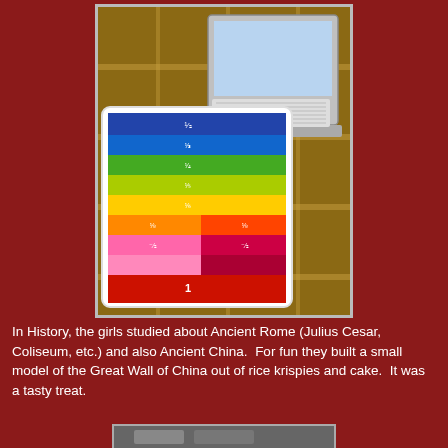[Figure (photo): Photo of a colorful fraction manipulative board (rainbow-colored strips showing fractions like 1/2, 1/3, 1/4, etc.) next to a small white laptop/netbook computer, placed on a plaid tablecloth.]
In History, the girls studied about Ancient Rome (Julius Cesar, Coliseum, etc.) and also Ancient China.  For fun they built a small model of the Great Wall of China out of rice krispies and cake.  It was a tasty treat.
[Figure (photo): Partial photo visible at the bottom of the page, cropped.]